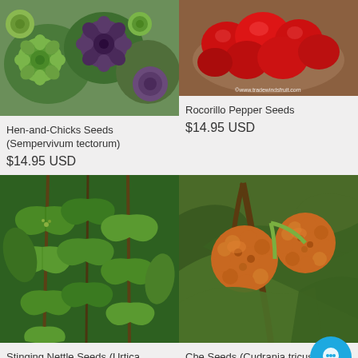[Figure (photo): Hen-and-Chicks succulent plants, green and purple rosettes]
Hen-and-Chicks Seeds (Sempervivum tectorum)
$14.95 USD
[Figure (photo): Rocorillo Pepper Seeds, red peppers in a basket with watermark www.tradewindsfruit.com]
Rocorillo Pepper Seeds
$14.95 USD
[Figure (photo): Stinging Nettle plant (Urtica dioica), tall green leafy stems]
Stinging Nettle Seeds (Urtica dioica)
$14.95 USD
[Figure (photo): Che Seeds (Cudrania tricuspidara), two orange bumpy fruit on a branch with green leaves]
Che Seeds (Cudrania tricuspidara)
$14.95 USD